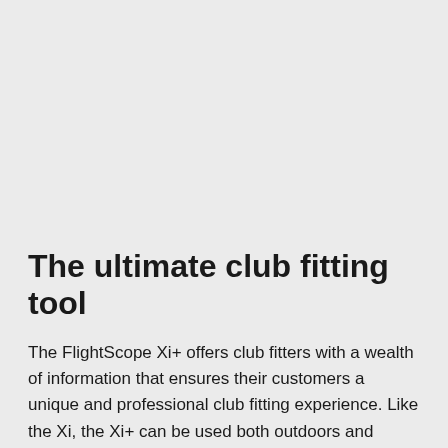The ultimate club fitting tool
The FlightScope Xi+ offers club fitters with a wealth of information that ensures their customers a unique and professional club fitting experience. Like the Xi, the Xi+ can be used both outdoors and indoors and will require only a minimum total distance of 21 feet from radar to net for indoor use.